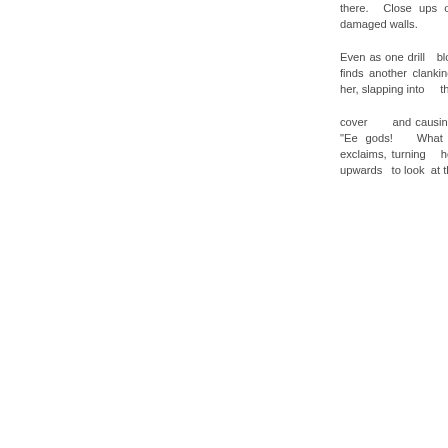there. Close ups of dead things, damaged walls.

Even as one drill blows up, Cilusia finds another clanking down around her, slapping into the metallic cover and causing her to duck. "Ee gods! What the frak!" she exclaims, turning her whole head upwards to look at the drill clapping